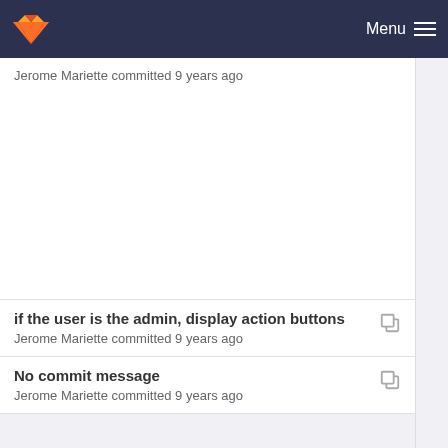Menu
Jerome Mariette committed 9 years ago
if the user is the admin, display action buttons
Jerome Mariette committed 9 years ago
No commit message
Jerome Mariette committed 9 years ago